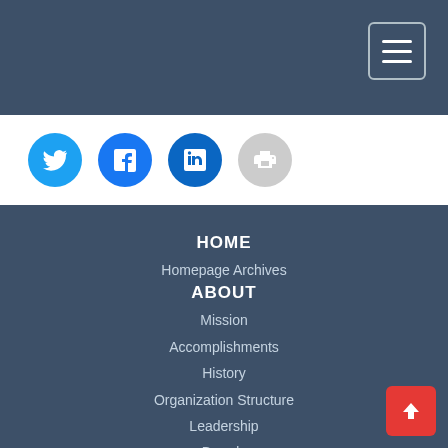Navigation header bar with menu button
[Figure (illustration): Social media sharing icons: Twitter (blue circle), Facebook (blue circle), LinkedIn (blue circle), Print (grey circle)]
HOME
Homepage Archives
ABOUT
Mission
Accomplishments
History
Organization Structure
Leadership
Boards
Staff Directory
Contact Us
PROGRAMS
Overview
Accelerator Award